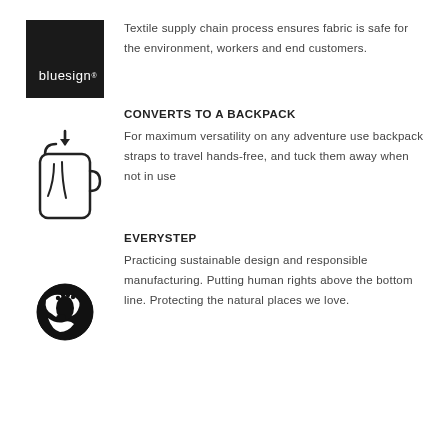[Figure (logo): Bluesign logo: black square with 'bluesign' text in white]
Textile supply chain process ensures fabric is safe for the environment, workers and end customers.
CONVERTS TO A BACKPACK
[Figure (illustration): Line drawing illustration of a bag/backpack with a strap and arrow pointing down]
For maximum versatility on any adventure use backpack straps to travel hands-free, and tuck them away when not in use
EVERYSTEP
[Figure (illustration): Black and white illustration of a footprint on a globe/earth]
Practicing sustainable design and responsible manufacturing. Putting human rights above the bottom line. Protecting the natural places we love.